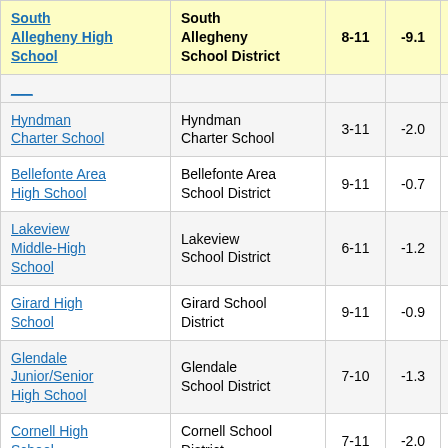| School | District | Grades | Score |  |
| --- | --- | --- | --- | --- |
| South Allegheny High School | South Allegheny School District | 8-11 | -9.1 |  |
| Hyndman Charter School | Hyndman Charter School | 3-11 | -2.0 |  |
| Bellefonte Area High School | Bellefonte Area School District | 9-11 | -0.7 |  |
| Lakeview Middle-High School | Lakeview School District | 6-11 | -1.2 |  |
| Girard High School | Girard School District | 9-11 | -0.9 |  |
| Glendale Junior/Senior High School | Glendale School District | 7-10 | -1.3 |  |
| Cornell High School | Cornell School District | 7-11 | -2.0 |  |
| James | Tuscarora... |  |  |  |